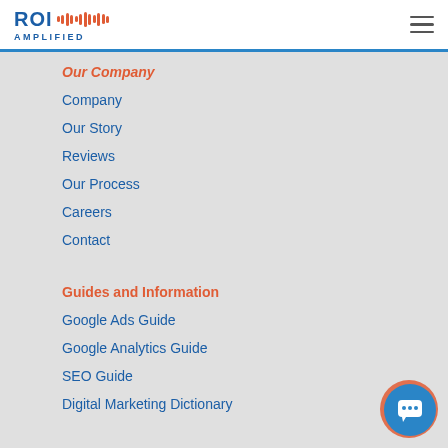ROI AMPLIFIED
Our Company
Company
Our Story
Reviews
Our Process
Careers
Contact
Guides and Information
Google Ads Guide
Google Analytics Guide
SEO Guide
Digital Marketing Dictionary